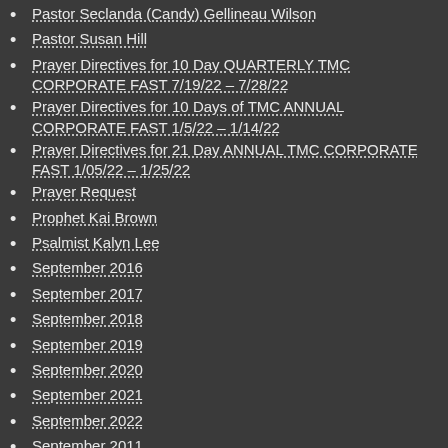Pastor Seclanda (Candy) Gellineau Wilson
Pastor Susan Hill
Prayer Directives for 10 Day QUARTERLY TMC CORPORATE FAST 7/19/22 – 7/28/22
Prayer Directives for 10 Days of TMC ANNUAL CORPORATE FAST 1/5/22 – 1/14/22
Prayer Directives for 21 Day ANNUAL TMC CORPORATE FAST 1/05/22 – 1/25/22
Prayer Request
Prophet Kai Brown
Psalmist Kalyn Lee
September 2016
September 2017
September 2018
September 2019
September 2020
September 2021
September 2022
September 2011
September 2012
September 2014
September 2015
Speaker Bio's